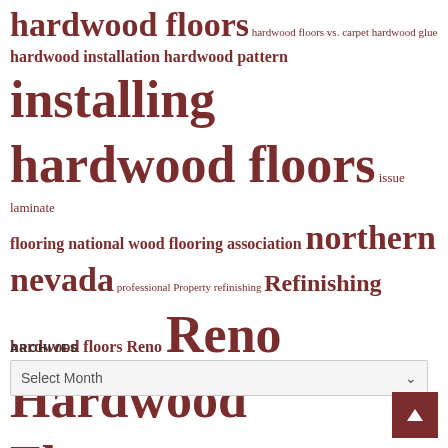[Figure (infographic): Tag cloud with hardwood flooring related keywords in varying font sizes and dark red/brown color. Tags include: hardwood floors, hardwood floors vs. carpet, hardwood glue, hardwood installation, hardwood pattern, installing hardwood floors, issue, laminate flooring, national wood flooring association, northern nevada, professional, Property, refinishing, Refinishing hardwood floors, Reno, Reno Hardwood Floors, shrink, sub-floor preparation, Tahoe, Value, warp, wood, wood flooring]
ARCHIVES
Select Month